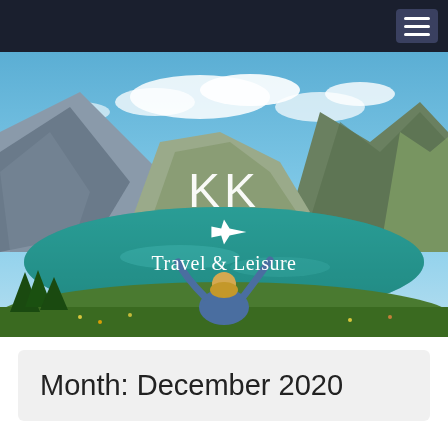KK Travel & Leisure — navigation bar with hamburger menu
[Figure (photo): Mountain landscape with turquoise lake, woman sitting with arms raised, KK logo, airplane icon, and 'Travel & Leisure' text overlay]
Month: December 2020